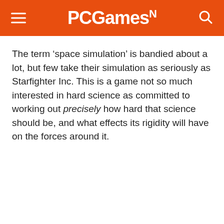PCGamesN
The term ‘space simulation’ is bandied about a lot, but few take their simulation as seriously as Starfighter Inc. This is a game not so much interested in hard science as committed to working out precisely how hard that science should be, and what effects its rigidity will have on the forces around it.